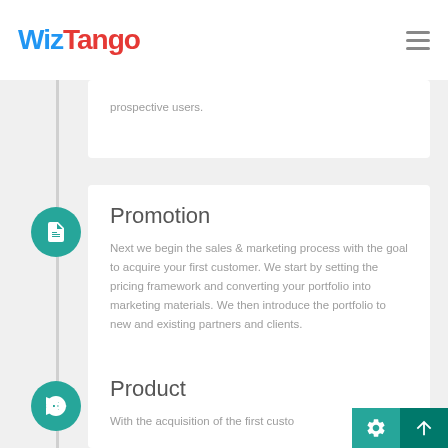WizTango
prospective users.
Promotion
Next we begin the sales & marketing process with the goal to acquire your first customer. We start by setting the pricing framework and converting your portfolio into marketing materials. We then introduce the portfolio to new and existing partners and clients.
Product
With the acquisition of the first custo...